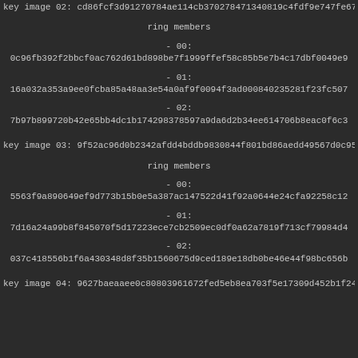key image 02: cd86fcf3d91270784ae114cb370278471340819c4fdf9e747fe674c
ring members
- 00:
0c96fb392f2bbcf0ac762d61bd898be7f1999ffef58c85b5e7b4c17dbf0049e9
- 01:
16a032a353a9ee0fcba85a48aa3e54a0af9f0094f3ad000840235281f23fc507
- 02:
7b97b899720b42e65bb4dc1b174298378597a9da6d2b34ee614706b8eac0f6c3
key image 03: 9f52ac96d0b2342afdd4bddb9830844f801bd86aedd49567d0c95c
ring members
- 00:
5563f9a890649ef9d773b15b0e5a387ac147522d41f92a0644e24cfa92258c12
- 01:
7d16a24a99b8f845070f5d17223ece7cb2509ec0df0a62a7819f713cf79984d4
- 02:
037c418556b1f6a430348d8f35b1560675d9ced189e18db0be46e44f98bc656b
key image 04: 9627baeaaee0c80803961672fed5eb8ea703f5e17309d452b1f245